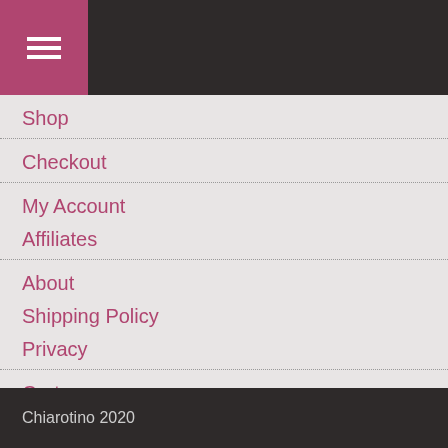☰ (hamburger menu icon)
Shop
Checkout
My Account
Affiliates
About
Shipping Policy
Privacy
Cart
Decoupage Tutorials
Save for Later
Chiarotino 2020